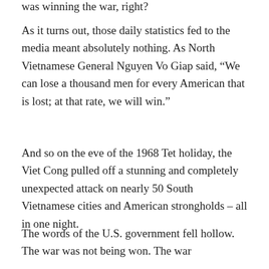was winning the war, right?
As it turns out, those daily statistics fed to the media meant absolutely nothing. As North Vietnamese General Nguyen Vo Giap said, “We can lose a thousand men for every American that is lost; at that rate, we will win.”
And so on the eve of the 1968 Tet holiday, the Viet Cong pulled off a stunning and completely unexpected attack on nearly 50 South Vietnamese cities and American strongholds – all in one night.
The words of the U.S. government fell hollow. The war was not being won. The war